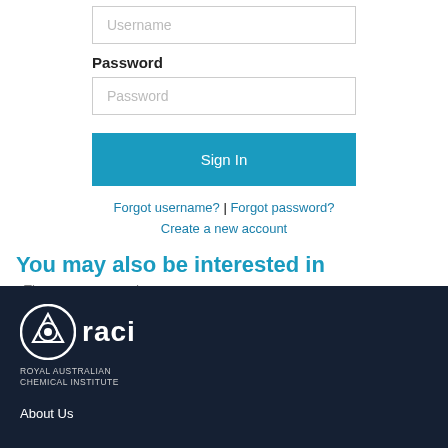Username
Password
Password
Sign In
Forgot username? | Forgot password?
Create a new account
You may also be interested in
There are no records.
[Figure (logo): RACI - Royal Australian Chemical Institute logo with circular emblem]
About Us